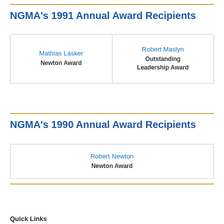NGMA's 1991 Annual Award Recipients
| Mathias Lasker
Newton Award | Robert Maslyn
Outstanding Leadership Award |
NGMA's 1990 Annual Award Recipients
| Robert Newton
Newton Award |
Quick Links